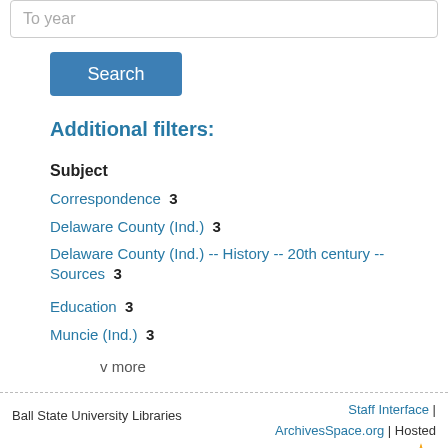To year
Search
Additional filters:
Subject
Correspondence  3
Delaware County (Ind.)  3
Delaware County (Ind.) -- History -- 20th century -- Sources  3
Education  3
Muncie (Ind.)  3
v more
Ball State University Libraries  Staff Interface | ArchivesSpace.org | Hosted by LYRASIS